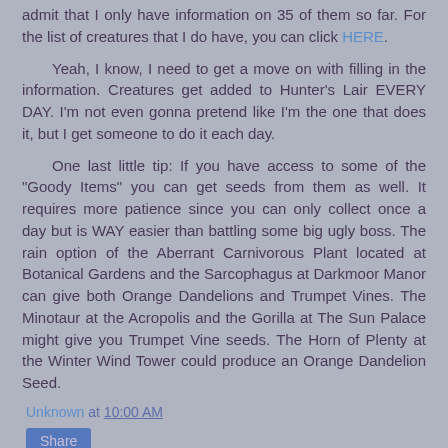admit that I only have information on 35 of them so far. For the list of creatures that I do have, you can click HERE.
Yeah, I know, I need to get a move on with filling in the information. Creatures get added to Hunter's Lair EVERY DAY. I'm not even gonna pretend like I'm the one that does it, but I get someone to do it each day.
One last little tip: If you have access to some of the "Goody Items" you can get seeds from them as well. It requires more patience since you can only collect once a day but is WAY easier than battling some big ugly boss. The rain option of the Aberrant Carnivorous Plant located at Botanical Gardens and the Sarcophagus at Darkmoor Manor can give both Orange Dandelions and Trumpet Vines. The Minotaur at the Acropolis and the Gorilla at The Sun Palace might give you Trumpet Vine seeds. The Horn of Plenty at the Winter Wind Tower could produce an Orange Dandelion Seed.
Unknown at 10:00 AM